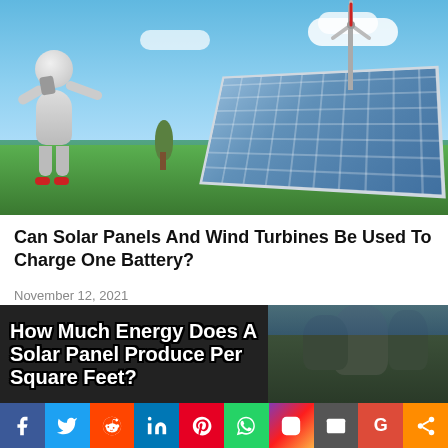[Figure (photo): 3D white figure holding a wrench next to a solar panel and wind turbine on a green field with blue sky]
Can Solar Panels And Wind Turbines Be Used To Charge One Battery?
November 12, 2021
[Figure (photo): Article thumbnail image with bold white text reading 'How Much Energy Does A Solar Panel Produce Per Square Feet?' overlaid on a tree background]
f (Facebook) | Twitter | Reddit | in (LinkedIn) | Pinterest | WhatsApp | Instagram | Email | Google | Share